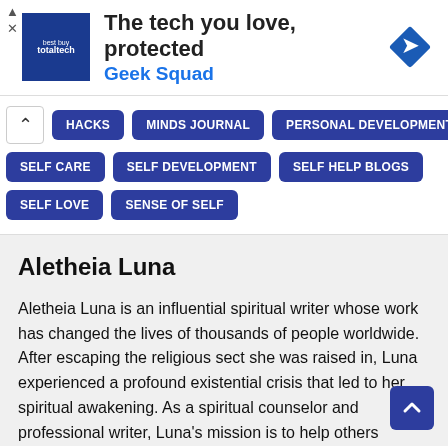[Figure (other): Best Buy Total Tech / Geek Squad advertisement banner with logo and navigation arrow icon]
HACKS
MINDS JOURNAL
PERSONAL DEVELOPMENT
SELF CARE
SELF DEVELOPMENT
SELF HELP BLOGS
SELF LOVE
SENSE OF SELF
Aletheia Luna
Aletheia Luna is an influential spiritual writer whose work has changed the lives of thousands of people worldwide. After escaping the religious sect she was raised in, Luna experienced a profound existential crisis that led to her spiritual awakening. As a spiritual counselor and professional writer, Luna's mission is to help others